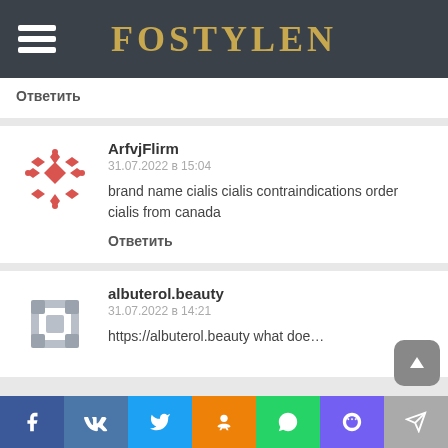FOSTYLEN
Ответить
ArfvjFlirm
31.07.2022 в 15:04
brand name cialis cialis contraindications order cialis from canada
Ответить
albuterol.beauty
31.07.2022 в 14:21
https://albuterol.beauty what does albutero...